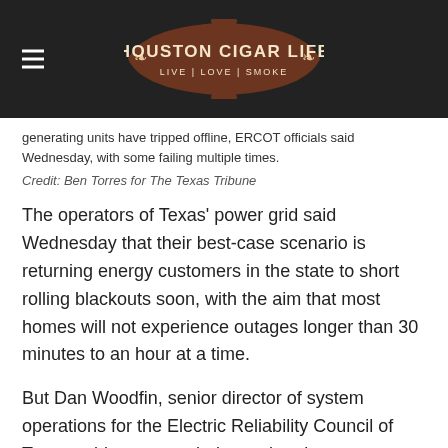HOUSTON CIGAR LIFE — LIVE | LOVE | SMOKE
generating units have tripped offline, ERCOT officials said Wednesday, with some failing multiple times.
Credit: Ben Torres for The Texas Tribune
The operators of Texas' power grid said Wednesday that their best-case scenario is returning energy customers in the state to short rolling blackouts soon, with the aim that most homes will not experience outages longer than 30 minutes to an hour at a time.
But Dan Woodfin, senior director of system operations for the Electric Reliability Council of Texas, told reporters during a virtual news conference that he did not think it was likely that could start to happen “today or before at least the morning tomorrow.”